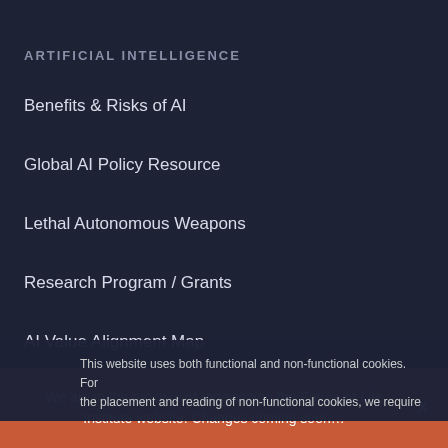ARTIFICIAL INTELLIGENCE
Benefits & Risks of AI
Global AI Policy Resource
Lethal Autonomous Weapons
Research Program / Grants
AI Value Alignment Map
Asilomar AI Principles
AI News Archive
This website uses both functional and non-functional cookies. For the placement and reading of non-functional cookies, we require
We are in the process of redesigning the Future of Life Institute website. Changes coming soon…